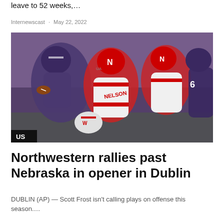leave to 52 weeks,…
Internewscast · May 22, 2022
[Figure (photo): American football game action photo showing Northwestern (purple uniforms) and Nebraska (white/red uniforms) players in a tackle. A player with 'NELSON' on the jersey is visible. 'US' badge in bottom-left corner.]
Northwestern rallies past Nebraska in opener in Dublin
DUBLIN (AP) — Scott Frost isn't calling plays on offense this season….